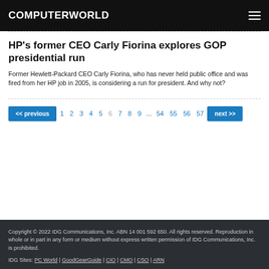COMPUTERWORLD
HP's former CEO Carly Fiorina explores GOP presidential run
Former Hewlett-Packard CEO Carly Fiorina, who has never held public office and was fired from her HP job in 2005, is considering a run for president. And why not?
<< previous  1 2 3 4 5 6 7 8 9 ... 54 55 56 57  next >>
Copyright © 2022 IDG Communications, Inc. ABN 14 001 592 650. All rights reserved. Reproduction in whole or in part in any form or medium without express written permission of IDG Communications, Inc. is prohibited.

IDG Sites: PC World | GoodGearGuide | CIO | CMO | CSO | ARN